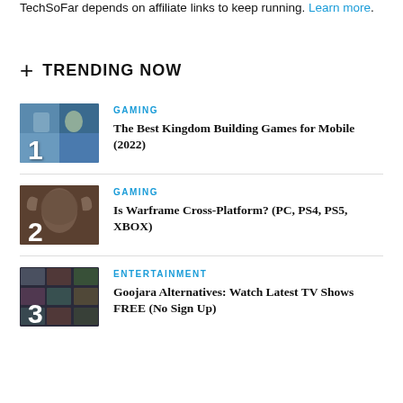TechSoFar depends on affiliate links to keep running. Learn more.
+ TRENDING NOW
1 | GAMING | The Best Kingdom Building Games for Mobile (2022)
2 | GAMING | Is Warframe Cross-Platform? (PC, PS4, PS5, XBOX)
3 | ENTERTAINMENT | Goojara Alternatives: Watch Latest TV Shows FREE (No Sign Up)